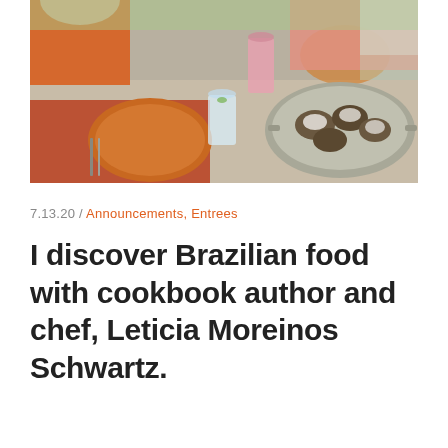[Figure (photo): People sitting at a dining table with orange plates, glasses of water and a pink drink, and a large metal pan containing food, outdoor setting]
7.13.20 / Announcements, Entrees
I discover Brazilian food with cookbook author and chef, Leticia Moreinos Schwartz.